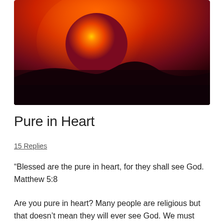[Figure (photo): A sunset photo showing a large orange/red sun partially behind a dark silhouetted hill or terrain, with a gradient sky from deep orange at top to very dark red-brown at the bottom.]
Pure in Heart
15 Replies
“Blessed are the pure in heart, for they shall see God. Matthew 5:8
Are you pure in heart? Many people are religious but that doesn’t mean they will ever see God. We must remember